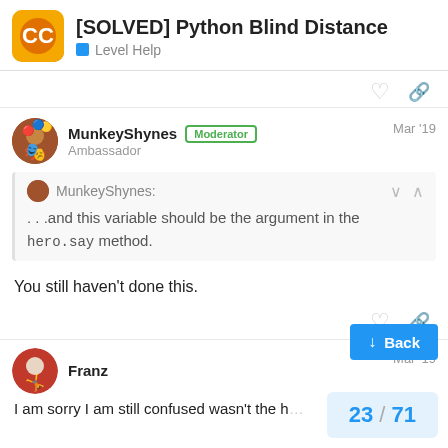[SOLVED] Python Blind Distance — Level Help
MunkeyShynes Moderator Ambassador Mar '19
MunkeyShynes: . . .and this variable should be the argument in the hero.say method.
You still haven't done this.
Franz Mar '19
I am sorry I am still confused wasn't the h...